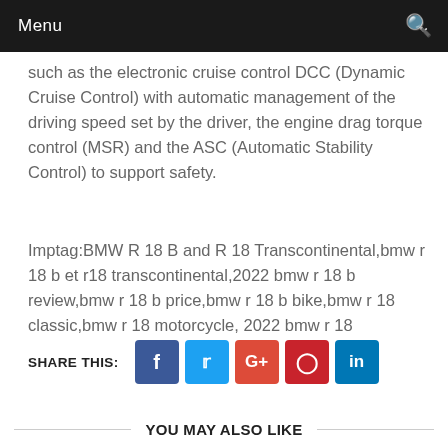Menu
such as the electronic cruise control DCC (Dynamic Cruise Control) with automatic management of the driving speed set by the driver, the engine drag torque control (MSR) and the ASC (Automatic Stability Control) to support safety.
Imptag:BMW R 18 B and R 18 Transcontinental,bmw r 18 b et r18 transcontinental,2022 bmw r 18 b review,bmw r 18 b price,bmw r 18 b bike,bmw r 18 classic,bmw r 18 motorcycle, 2022 bmw r 18
SHARE THIS:
YOU MAY ALSO LIKE